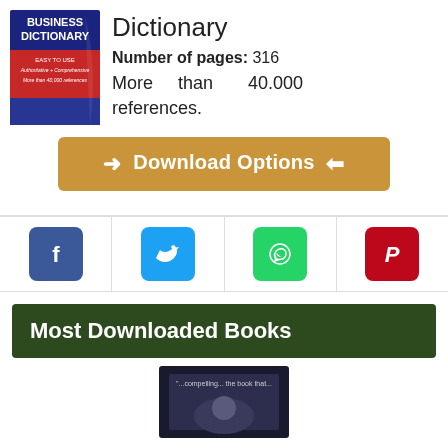[Figure (photo): Business Dictionary book cover — red and blue cover with text: BUSINESS DICTIONARY, EASY TO USE, Authoritative + Comprehensive, More than 40,000 references]
Dictionary
Number of pages: 316
More than 40.000 references.
[Figure (other): Download Options button — golden/tan colored button with arrows and text 'Download Options']
[Figure (other): Social media sharing icons: Facebook, Twitter, WhatsApp, Pinterest]
Most Downloaded Books
[Figure (photo): Book cover thumbnail at bottom of page]